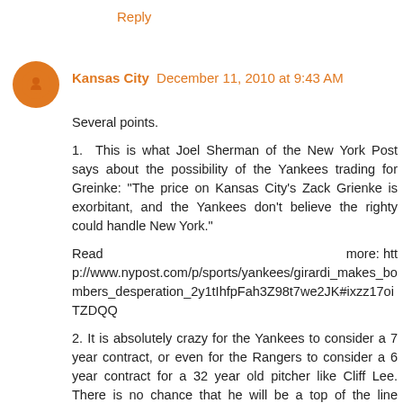Reply
Kansas City December 11, 2010 at 9:43 AM
Several points.

1. This is what Joel Sherman of the New York Post says about the possibility of the Yankees trading for Greinke: "The price on Kansas City's Zack Grienke is exorbitant, and the Yankees don't believe the righty could handle New York."

Read more: http://www.nypost.com/p/sports/yankees/girardi_makes_bombers_desperation_2y1tIhfpFah3Z98t7we2JK#ixzz17oiTZDQQ

2. It is absolutely crazy for the Yankees to consider a 7 year contract, or even for the Rangers to consider a 6 year contract for a 32 year old pitcher like Cliff Lee. There is no chance that he will be a top of the line pitcher for the last 2 to 4 years of the contract. Why can't baseball executives